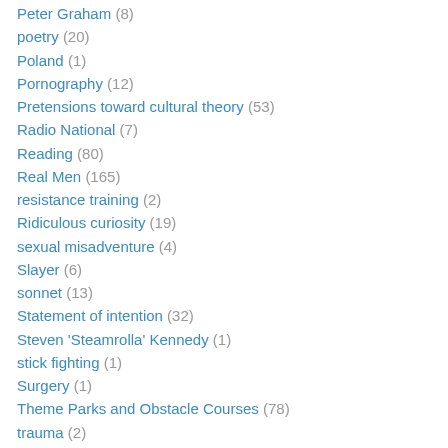Peter Graham (8)
poetry (20)
Poland (1)
Pornography (12)
Pretensions toward cultural theory (53)
Radio National (7)
Reading (80)
Real Men (165)
resistance training (2)
Ridiculous curiosity (19)
sexual misadventure (4)
Slayer (6)
sonnet (13)
Statement of intention (32)
Steven 'Steamrolla' Kennedy (1)
stick fighting (1)
Surgery (1)
Theme Parks and Obstacle Courses (78)
trauma (2)
Travel (1)